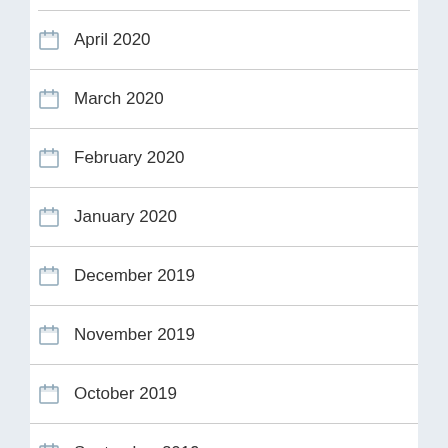April 2020
March 2020
February 2020
January 2020
December 2019
November 2019
October 2019
September 2019